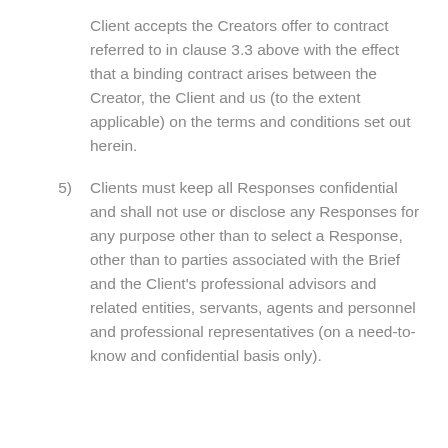Client accepts the Creators offer to contract referred to in clause 3.3 above with the effect that a binding contract arises between the Creator, the Client and us (to the extent applicable) on the terms and conditions set out herein.
5) Clients must keep all Responses confidential and shall not use or disclose any Responses for any purpose other than to select a Response, other than to parties associated with the Brief and the Client's professional advisors and related entities, servants, agents and personnel and professional representatives (on a need-to-know and confidential basis only).